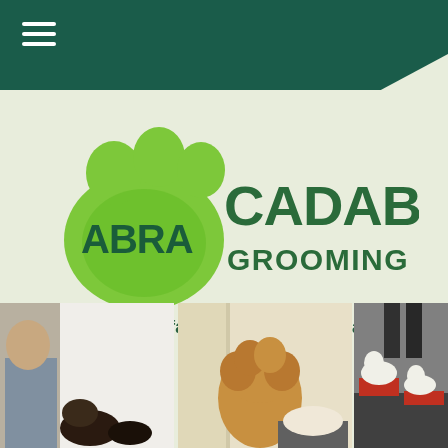Navigation menu header bar
[Figure (logo): Abracadabra Grooming & Training logo with green paw print and stylized text]
Ormond Beach's favorite source for healthy pet food and grooming
[Figure (photo): Three photos showing dog grooming and training scenes at Abracadabra Grooming & Training]